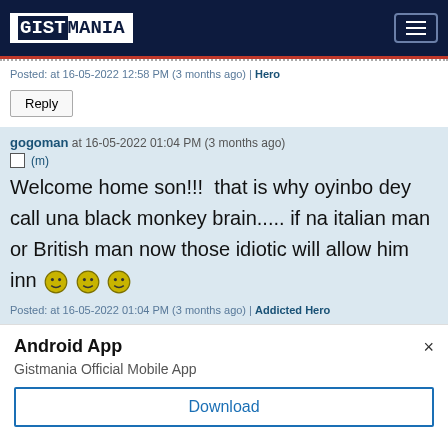GISTMANIA
Posted: at 16-05-2022 12:58 PM (3 months ago) | Hero
Reply
gogoman at 16-05-2022 01:04 PM (3 months ago)
(m)
Welcome home son!!!  that is why oyinbo dey call una black monkey brain..... if na italian man or British man now those idiotic will allow him inn 😊😊😊
Posted: at 16-05-2022 01:04 PM (3 months ago) | Addicted Hero
Android App
Gistmania Official Mobile App
Download